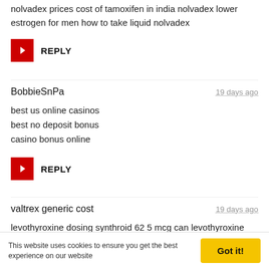nolvadex prices cost of tamoxifen in india nolvadex lower estrogen for men how to take liquid nolvadex
REPLY
BobbieSnPa	19 days ago
best us online casinos
best no deposit bonus
casino bonus online
REPLY
valtrex generic cost	19 days ago
levothyroxine dosing synthroid 62 5 mcg can levothyroxine cause kidney problems what happens if a dog eats synthroid
This website uses cookies to ensure you get the best experience on our website